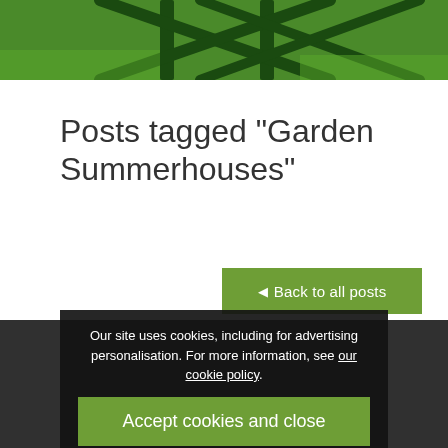[Figure (photo): Green garden lattice/trellis on grass background, top image strip]
Posts tagged “Garden Summerhouses”
◄ Back to all posts
Our site uses cookies, including for advertising personalisation. For more information, see our cookie policy.
Accept cookies and close
Reject cookies
Manage settings
Cre... Sanctuary with a Garden Summerhouse